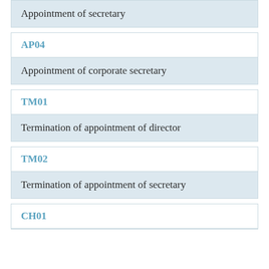Appointment of secretary
AP04
Appointment of corporate secretary
TM01
Termination of appointment of director
TM02
Termination of appointment of secretary
CH01